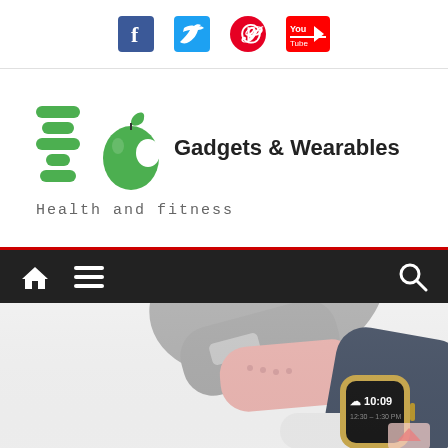Social media icons: Facebook, Twitter, Pinterest, YouTube
[Figure (logo): Gadgets & Wearables logo with green stacked icon and apple icon, tagline: Health and fitness]
[Figure (screenshot): Website navigation bar with home icon, hamburger menu icon, and search icon on dark background with red top border]
[Figure (photo): Apple Watch product photo showing multiple watch bands - gray woven nylon, pink sport band, navy sport band - with watch face displaying 10:09 time]